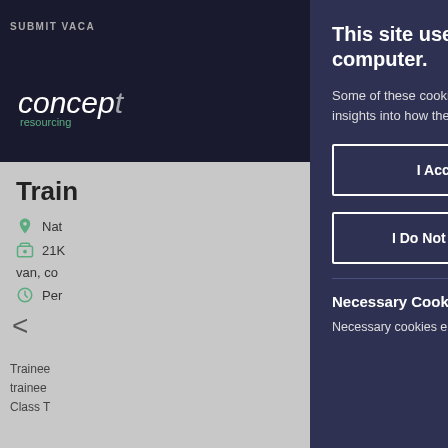[Figure (screenshot): Background website for concept resourcing recruitment agency, showing top navigation bar with 'SUBMIT VACA' text, logo with 'concept resourcing', a job listing title 'Train', location 'Nat', salary '21K', details 'van, co', contract type 'Per', and description text beginning with 'Trainee', 'trainee', 'Class T'. A left arrow navigation element is also visible.]
This site uses cookies to store information on your computer.
Some of these cookies are essential, while others help us to improve your experience by providing insights into how the site is being used.
I Accept Cookies
I Do Not Accept Cookies
Necessary Cookies
Necessary cookies enable cor